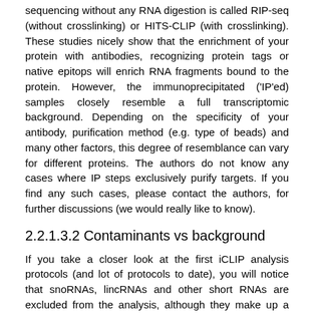sequencing without any RNA digestion is called RIP-seq (without crosslinking) or HITS-CLIP (with crosslinking). These studies nicely show that the enrichment of your protein with antibodies, recognizing protein tags or native epitops will enrich RNA fragments bound to the protein. However, the immunoprecipitated ('IP'ed) samples closely resemble a full transcriptomic background. Depending on the specificity of your antibody, purification method (e.g. type of beads) and many other factors, this degree of resemblance can vary for different proteins. The authors do not know any cases where IP steps exclusively purify targets. If you find any such cases, please contact the authors, for further discussions (we would really like to know).
2.2.1.3.2 Contaminants vs background
If you take a closer look at the first iCLIP analysis protocols (and lot of protocols to date), you will notice that snoRNAs, lincRNAs and other short RNAs are excluded from the analysis, although they make up a majority of the signal. They were either treated as contaminants and dismissed right away, or more recently it was recommended to compare the i/eCLIP data with an orthogonal dataset like an RNA-seq knockout data and only look at the regions of interest that are common in both. As